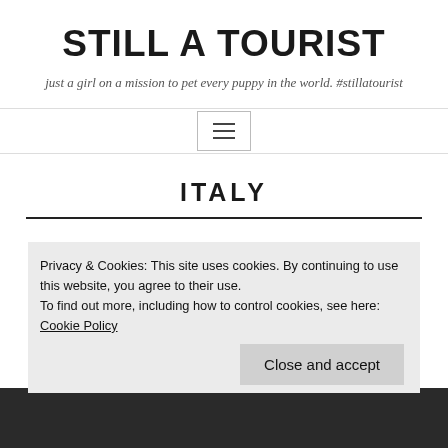STILL A TOURIST
just a girl on a mission to pet every puppy in the world. #stillatourist
ITALY
Privacy & Cookies: This site uses cookies. By continuing to use this website, you agree to their use.
To find out more, including how to control cookies, see here: Cookie Policy
Close and accept